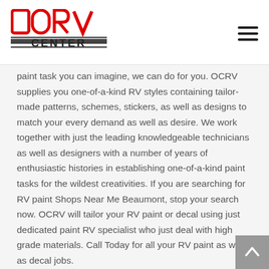OCRV CENTER
paint task you can imagine, we can do for you. OCRV supplies you one-of-a-kind RV styles containing tailor-made patterns, schemes, stickers, as well as designs to match your every demand as well as desire. We work together with just the leading knowledgeable technicians as well as designers with a number of years of enthusiastic histories in establishing one-of-a-kind paint tasks for the wildest creativities. If you are searching for RV paint Shops Near Me Beaumont, stop your search now. OCRV will tailor your RV paint or decal using just dedicated paint RV specialist who just deal with high grade materials. Call Today for all your RV paint as well as decal jobs.
RV Interior Remodeling Beaumont
Whatever your mind can conceive we can achieve. OCRV